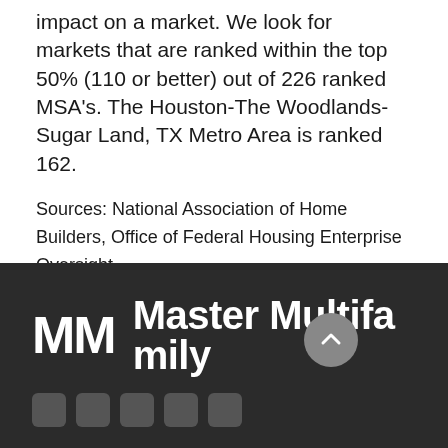impact on a market. We look for markets that are ranked within the top 50% (110 or better) out of 226 ranked MSA's. The Houston-The Woodlands-Sugar Land, TX Metro Area is ranked 162.
Sources: National Association of Home Builders, Office of Federal Housing Enterprise Oversight
[Figure (logo): Master Multifamily company logo with MM monogram on dark background, with social media icons at bottom]